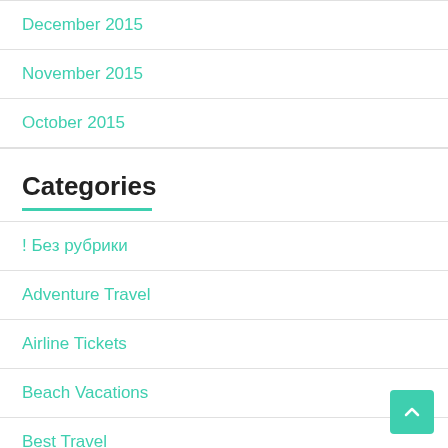December 2015
November 2015
October 2015
Categories
! Без рубрики
Adventure Travel
Airline Tickets
Beach Vacations
Best Travel
Cheap Airline Flights
Cheap Flights